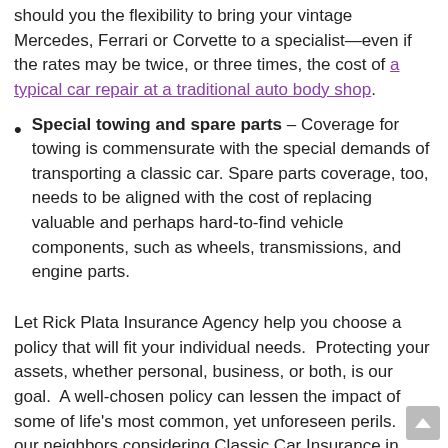should you the flexibility to bring your vintage Mercedes, Ferrari or Corvette to a specialist—even if the rates may be twice, or three times, the cost of a typical car repair at a traditional auto body shop.
Special towing and spare parts – Coverage for towing is commensurate with the special demands of transporting a classic car. Spare parts coverage, too, needs to be aligned with the cost of replacing valuable and perhaps hard-to-find vehicle components, such as wheels, transmissions, and engine parts.
Let Rick Plata Insurance Agency help you choose a policy that will fit your individual needs.  Protecting your assets, whether personal, business, or both, is our goal.  A well-chosen policy can lessen the impact of some of life's most common, yet unforeseen perils.  For our neighbors considering Classic Car Insurance in please consider calling, or sending us